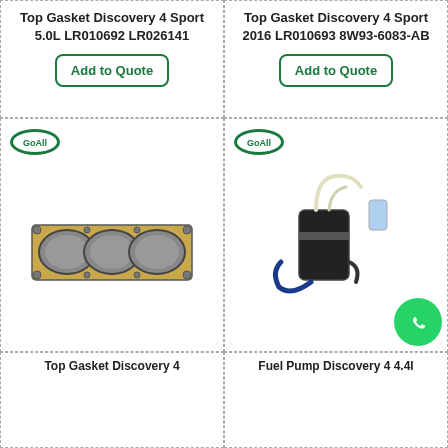Top Gasket Discovery 4 Sport 5.0L LR010692 LR026141
Add to Quote
Top Gasket Discovery 4 Sport 2016 LR010693 8W93-6083-AB
Add to Quote
[Figure (photo): Head gasket part photo with GoAll brand logo in top-left corner. Shows a flat metal head gasket with circular cylinder cutouts.]
[Figure (photo): Fuel pump assembly photo with GoAll brand logo in top-left corner. Shows a black cylindrical fuel pump with wiring harness and tubing.]
Top Gasket Discovery 4
Fuel Pump Discovery 4 4.4l